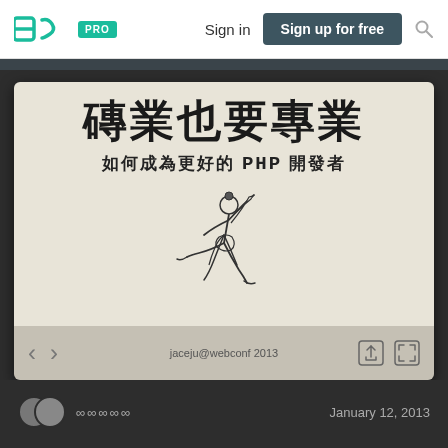SpeakerDeck — PRO  Sign in  Sign up for free
[Figure (screenshot): Slide presentation thumbnail showing Chinese text '磚業也要專業' (Be professional even as a bricklayer) as the main title, subtitle '如何成為更好的 PHP 開發者' (How to become a better PHP developer), with a line-art illustration of a martial artist jumping, and text 'jaceju@webconf 2013' at the bottom of the slide.]
jaceju@webconf 2013
∞∞∞∞∞    January 12, 2013